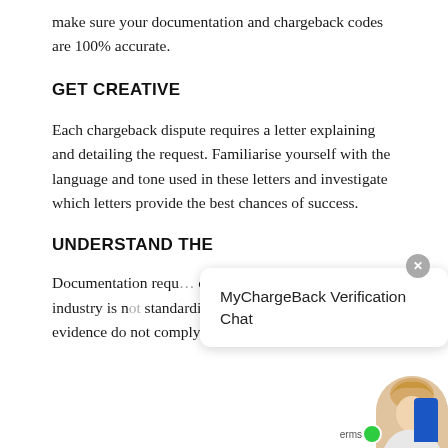make sure your documentation and chargeback codes are 100% accurate.
GET CREATIVE
Each chargeback dispute requires a letter explaining and detailing the request. Familiarise yourself with the language and tone used in these letters and investigate which letters provide the best chances of success.
UNDERSTAND THE
Documentation requ… organization to the other as the industry is not standardized. If your documentation and evidence do not comply with Afriland First B… of Cameroon or credit card company
[Figure (screenshot): MyChargeBack Verification Chat widget popup with avatar and close button]